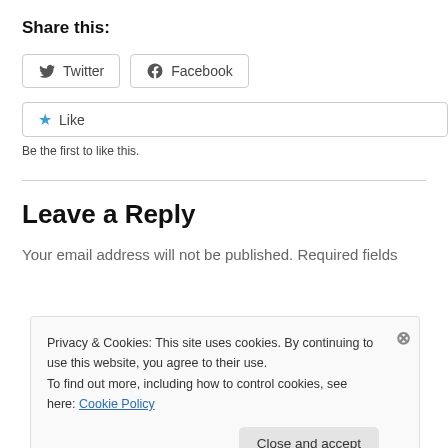Share this:
Twitter
Facebook
Like
Be the first to like this.
Leave a Reply
Your email address will not be published. Required fields
Privacy & Cookies: This site uses cookies. By continuing to use this website, you agree to their use. To find out more, including how to control cookies, see here: Cookie Policy
Close and accept